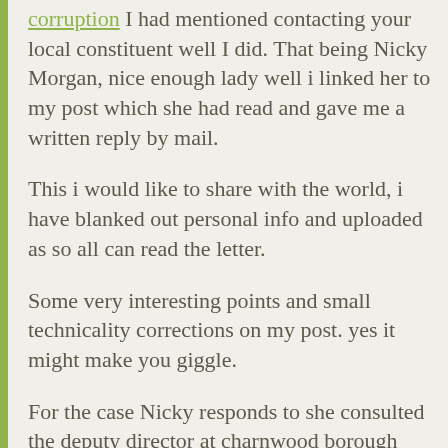corruption I had mentioned contacting your local constituent well I did. That being Nicky Morgan, nice enough lady well i linked her to my post which she had read and gave me a written reply by mail.
This i would like to share with the world, i have blanked out personal info and uploaded as so all can read the letter.
Some very interesting points and small technicality corrections on my post. yes it might make you giggle.
For the case Nicky responds to she consulted the deputy director at charnwood borough council called David Platts. I am releasing this info not in